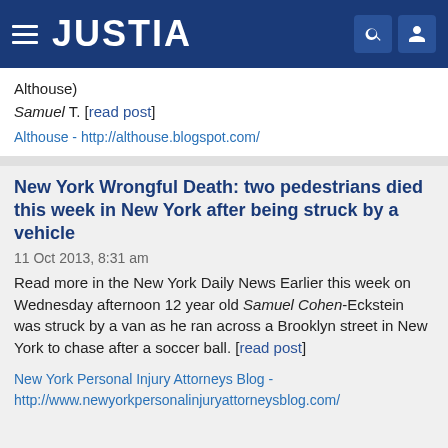JUSTIA
Althouse)
Samuel T. [read post]
Althouse - http://althouse.blogspot.com/
New York Wrongful Death: two pedestrians died this week in New York after being struck by a vehicle
11 Oct 2013, 8:31 am
Read more in the New York Daily News Earlier this week on Wednesday afternoon 12 year old Samuel Cohen-Eckstein was struck by a van as he ran across a Brooklyn street in New York to chase after a soccer ball. [read post]
New York Personal Injury Attorneys Blog - http://www.newyorkpersonalinjuryattorneysblog.com/